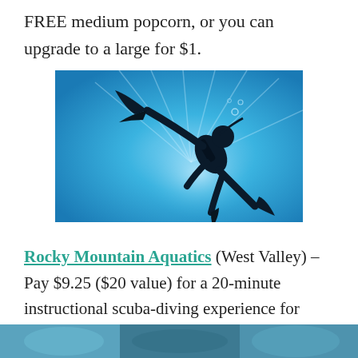FREE medium popcorn, or you can upgrade to a large for $1.
[Figure (photo): Silhouette of a scuba diver underwater against bright blue water with rays of light, viewed from below.]
Rocky Mountain Aquatics (West Valley) – Pay $9.25 ($20 value) for a 20-minute instructional scuba-diving experience for Two.
The Crater at Homestead Resort – $30 (reg. $36) for a 40-min bath or swim with snorkling gear for TWO. Options available for six.
[Figure (photo): Partial view of another photo at the bottom of the page, cut off.]